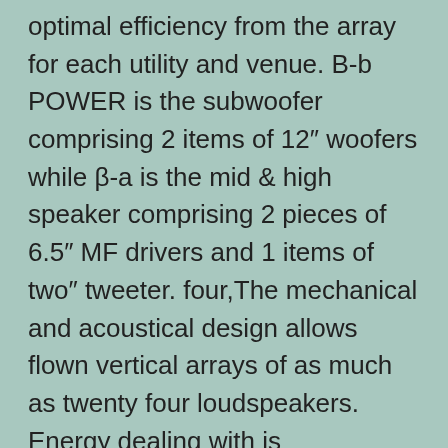optimal efficiency from the array for each utility and venue. B-b POWER is the subwoofer comprising 2 items of 12" woofers while β-a is the mid & high speaker comprising 2 pieces of 6.5" MF drivers and 1 items of two" tweeter. four,The mechanical and acoustical design allows flown vertical arrays of as much as twenty four loudspeakers. Energy dealing with is dramatically elevated and when a number of enclosures are used together in an array they work collectively seamlessly as in the event that they have been a single driver on a very long waveguide. The DAS Audio Event 208A Line is a three-method powered line array in a